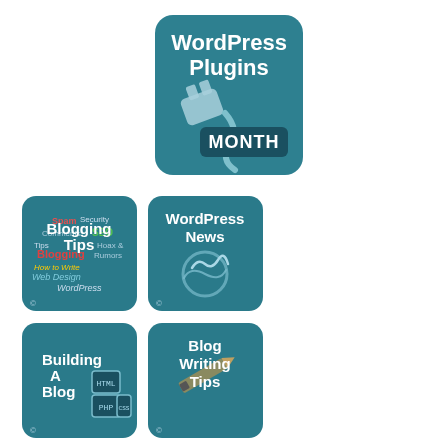[Figure (logo): WordPress Plugins Month badge - teal rounded square with white bold text reading WordPress Plugins and a plug icon with MONTH banner]
[Figure (logo): Blogging Tips badge - teal rounded square with tag cloud words and white bold text Blogging Tips]
[Figure (logo): WordPress News badge - teal rounded square with WordPress logo swirl and white bold text WordPress News]
[Figure (logo): Building A Blog badge - teal rounded square with HTML/CSS/PHP code icons and white bold text Building A Blog]
[Figure (logo): Blog Writing Tips badge - teal rounded square with pencil icon and white bold text Blog Writing Tips]